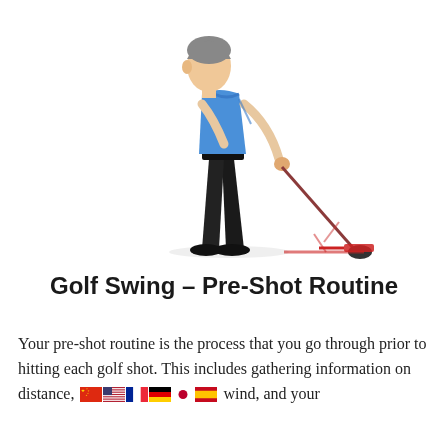[Figure (photo): A man in a blue polo shirt and black trousers bent forward in a golf address position, holding a golf club (with a red club head and red training aid device) at the ball near the ground, on a white background.]
Golf Swing – Pre-Shot Routine
Your pre-shot routine is the process that you go through prior to hitting each golf shot. This includes gathering information on distance, wind, and your